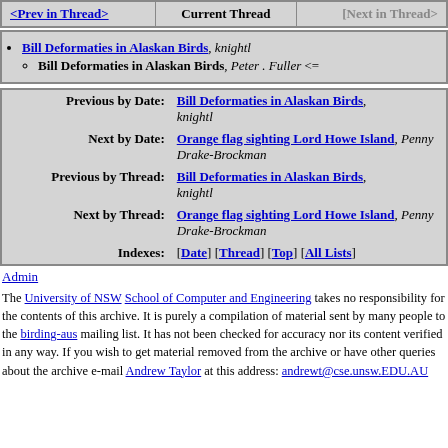| <Prev in Thread> | Current Thread | [Next in Thread> |
| --- | --- | --- |
|  |
Bill Deformaties in Alaskan Birds, knightl
Bill Deformaties in Alaskan Birds, Peter . Fuller <=
| Previous by Date: | Bill Deformaties in Alaskan Birds, knightl |
| Next by Date: | Orange flag sighting Lord Howe Island, Penny Drake-Brockman |
| Previous by Thread: | Bill Deformaties in Alaskan Birds, knightl |
| Next by Thread: | Orange flag sighting Lord Howe Island, Penny Drake-Brockman |
| Indexes: | [Date] [Thread] [Top] [All Lists] |
Admin
The University of NSW School of Computer and Engineering takes no responsibility for the contents of this archive. It is purely a compilation of material sent by many people to the birding-aus mailing list. It has not been checked for accuracy nor its content verified in any way. If you wish to get material removed from the archive or have other queries about the archive e-mail Andrew Taylor at this address: andrewt@cse.unsw.EDU.AU